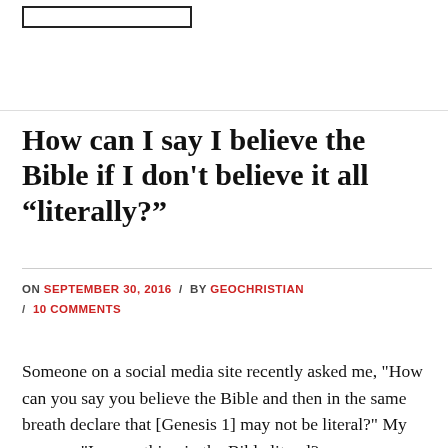How can I say I believe the Bible if I don't believe it all “literally?”
ON SEPTEMBER 30, 2016 / BY GEOCHRISTIAN / 10 COMMENTS
Someone on a social media site recently asked me, "How can you say you believe the Bible and then in the same breath declare that [Genesis 1] may not be literal?" My answer: "Is everything in the Bible literal?